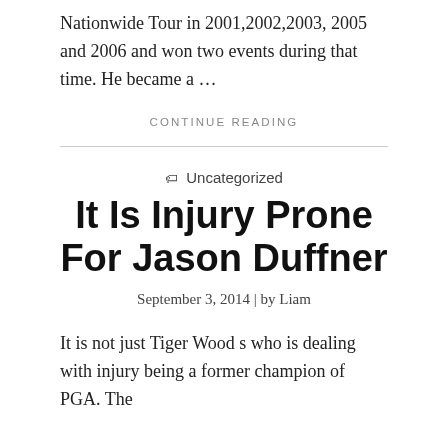Nationwide Tour in 2001,2002,2003, 2005 and 2006 and won two events during that time. He became a …
CONTINUE READING
Uncategorized
It Is Injury Prone For Jason Duffner
September 3, 2014 | by Liam
It is not just Tiger Wood s who is dealing with injury being a former champion of PGA. The